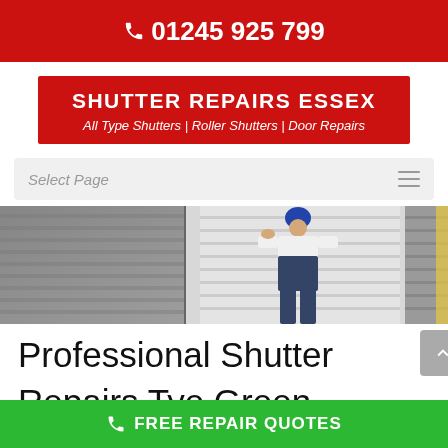01245 925 799
SHUTTER REPAIRS ESSEX
All Type Shutters | Roller Shutters | Door Repairs
Select Page
[Figure (photo): Worker repairing or installing roller shutters on a building exterior]
Professional Shutter Repairs Tye Green
FREE REPAIR QUOTES